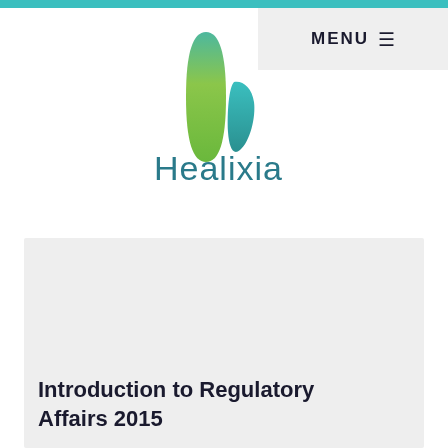[Figure (logo): Healixia logo: two abstract lens/capsule shapes in green gradient and teal, with the word Healixia below in teal color]
[Figure (screenshot): Gray content box placeholder for article thumbnail image]
Introduction to Regulatory Affairs 2015